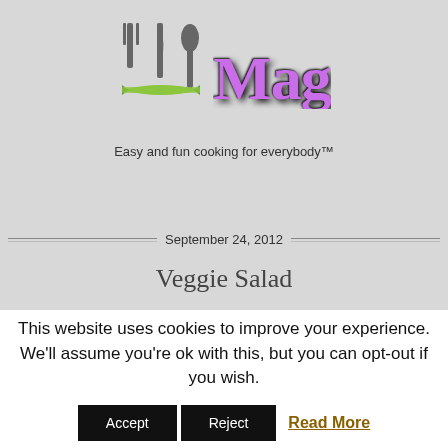[Figure (logo): Cutlery icon (fork, knife, spoon) with a green ribbon banner, and purple cursive brand name starting with 'Mag' partially visible]
Easy and fun cooking for everybody™
September 24, 2012
Veggie Salad
This website uses cookies to improve your experience. We'll assume you're ok with this, but you can opt-out if you wish.
Accept   Reject   Read More